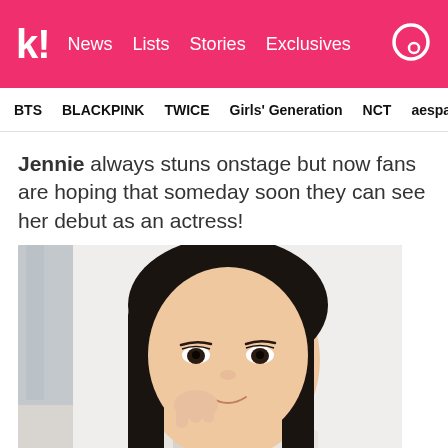k! News Lists Stories Exclusives
BTS BLACKPINK TWICE Girls' Generation NCT aespa
Jennie always stuns onstage but now fans are hoping that someday soon they can see her debut as an actress!
[Figure (photo): Close-up selfie of Jennie (BLACKPINK member) smiling, with dark hair, making a small gesture near her cheek, wearing white/light colored top, indoor background.]